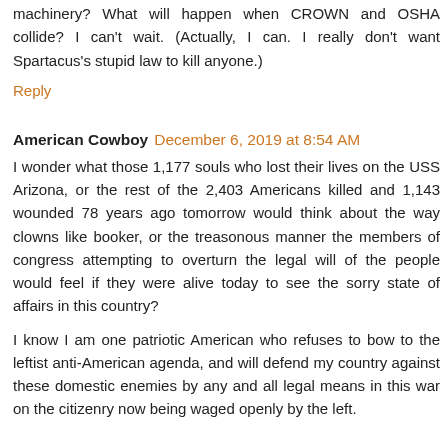machinery? What will happen when CROWN and OSHA collide? I can't wait. (Actually, I can. I really don't want Spartacus's stupid law to kill anyone.)
Reply
American Cowboy  December 6, 2019 at 8:54 AM
I wonder what those 1,177 souls who lost their lives on the USS Arizona, or the rest of the 2,403 Americans killed and 1,143 wounded 78 years ago tomorrow would think about the way clowns like booker, or the treasonous manner the members of congress attempting to overturn the legal will of the people would feel if they were alive today to see the sorry state of affairs in this country?
I know I am one patriotic American who refuses to bow to the leftist anti-American agenda, and will defend my country against these domestic enemies by any and all legal means in this war on the citizenry now being waged openly by the left.